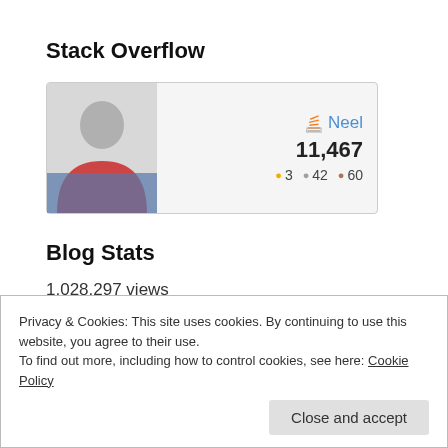Stack Overflow
[Figure (other): Stack Overflow user card showing avatar photo of person, username Neel with Stack Overflow logo, score 11,467, and badges: 3 gold, 42 silver, 60 bronze]
Blog Stats
1,028,297 views
Privacy & Cookies: This site uses cookies. By continuing to use this website, you agree to their use.
To find out more, including how to control cookies, see here: Cookie Policy
Close and accept